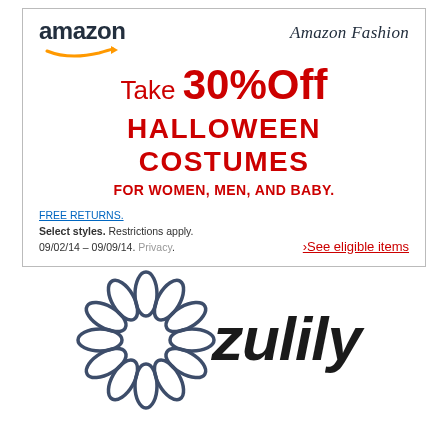[Figure (logo): Amazon logo with orange arrow swoosh underneath]
[Figure (logo): Amazon Fashion text logo in serif italic]
Take 30% Off
HALLOWEEN COSTUMES
FOR WOMEN, MEN, AND BABY.
FREE RETURNS. Select styles. Restrictions apply. 09/02/14 – 09/09/14. Privacy.
>See eligible items
[Figure (logo): Zulily logo — stylized flower made of leaf/petal shapes in dark slate blue on left, bold italic 'zulily' text in black on right]